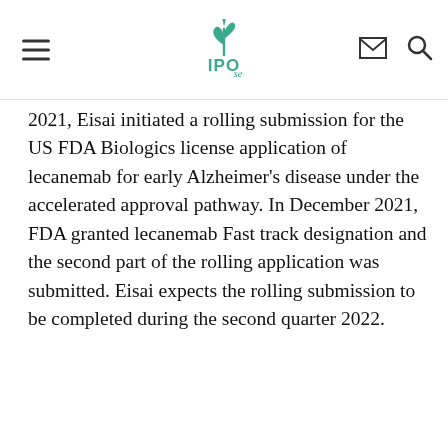IPO.se navigation bar with hamburger menu, IPO.se logo, mail icon, search icon
2021, Eisai initiated a rolling submission for the US FDA Biologics license application of lecanemab for early Alzheimer's disease under the accelerated approval pathway. In December 2021, FDA granted lecanemab Fast track designation and the second part of the rolling application was submitted. Eisai expects the rolling submission to be completed during the second quarter 2022.
Vi har förtydligat vår personuppgiftspolicy.
Läs mer här
OK
Commercialization Agreement for the lecanemab